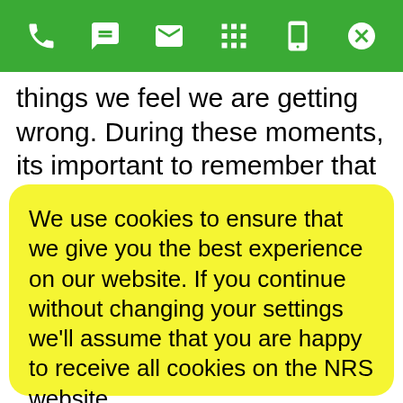[green navigation bar with phone, chat, email, grid, mobile, close icons]
things we feel we are getting wrong. During these moments, its important to remember that you are still surviving. You have unique strengths that make you who you are, celebrate them!
We use cookies to ensure that we give you the best experience on our website. If you continue without changing your settings we’ll assume that you are happy to receive all cookies on the NRS website.
ACCEPT